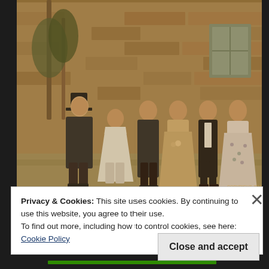[Figure (photo): Sepia-toned photograph of five people in period Regency-era costumes standing in front of a stone building. From left: a man in top hat and long coat, a woman in white dress, a man in dark jacket, a woman in cream dress with flowers, another man in waistcoat, and a woman in floral dress. Trees visible on left, stone wall and window in background.]
Privacy & Cookies: This site uses cookies. By continuing to use this website, you agree to their use.
To find out more, including how to control cookies, see here: Cookie Policy